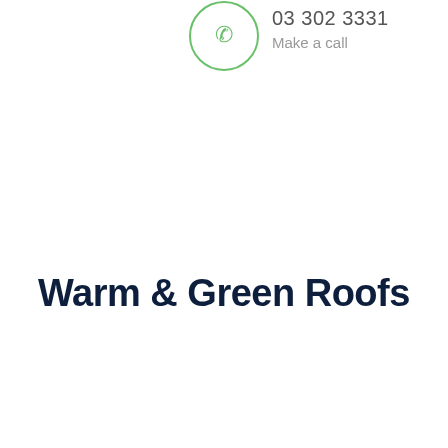[Figure (logo): A circular icon with a thin green border containing a small phone/handset symbol in the center]
03 302 3331
Make a call
Warm & Green Roofs